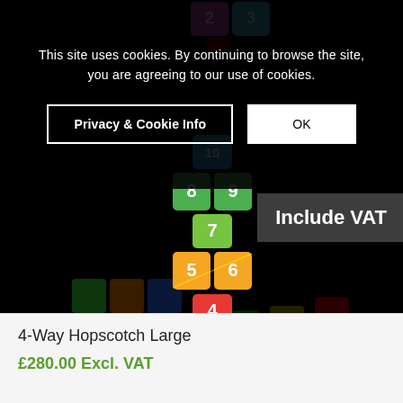[Figure (screenshot): Screenshot of a product page showing a 4-Way Hopscotch Large playground marking against a black background, with colorful numbered hopscotch tiles (1-10) arranged in a cross/flower pattern. An 'Include VAT' toggle button is visible on the right side.]
This site uses cookies. By continuing to browse the site, you are agreeing to our use of cookies.
Privacy & Cookie Info
OK
Include VAT
4-Way Hopscotch Large
£280.00 Excl. VAT